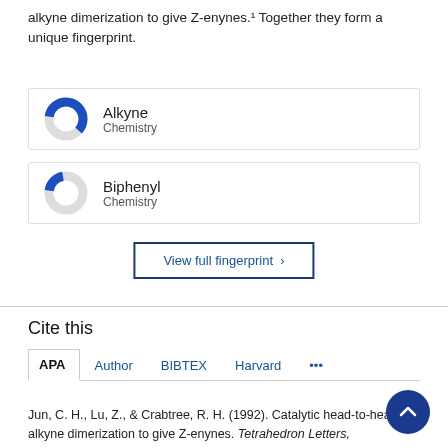alkyne dimerization to give Z-enynes.¹ Together they form a unique fingerprint.
[Figure (donut-chart): Donut chart showing Alkyne Chemistry fingerprint proportion, approximately 60% filled in blue]
[Figure (donut-chart): Donut chart showing Biphenyl Chemistry fingerprint proportion, approximately 20% filled in blue]
View full fingerprint ›
Cite this
APA  Author  BIBTEX  Harvard  •••
Jun, C. H., Lu, Z., & Crabtree, R. H. (1992). Catalytic head-to-head alkyne dimerization to give Z-enynes. Tetrahedron Letters,